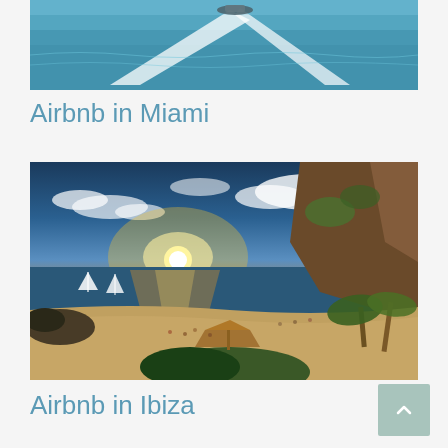[Figure (photo): Aerial view of a speedboat on blue ocean water with a white wake trail]
Airbnb in Miami
[Figure (photo): Sunset beach scene in Ibiza with palm trees, thatched umbrellas, sailboats, cliffs, and people on the sandy beach]
Airbnb in Ibiza